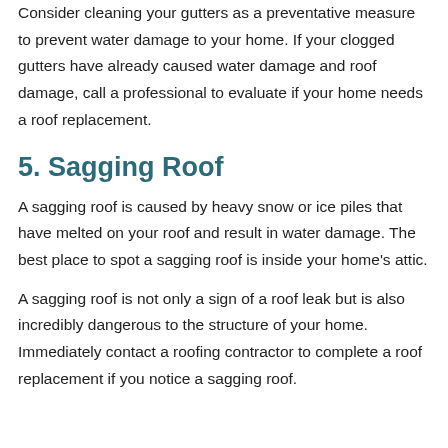Consider cleaning your gutters as a preventative measure to prevent water damage to your home. If your clogged gutters have already caused water damage and roof damage, call a professional to evaluate if your home needs a roof replacement.
5. Sagging Roof
A sagging roof is caused by heavy snow or ice piles that have melted on your roof and result in water damage. The best place to spot a sagging roof is inside your home's attic.
A sagging roof is not only a sign of a roof leak but is also incredibly dangerous to the structure of your home. Immediately contact a roofing contractor to complete a roof replacement if you notice a sagging roof.